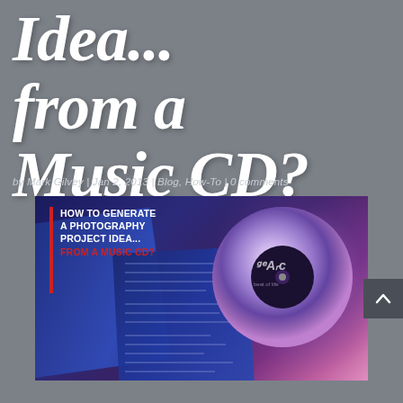Idea... from a Music CD?
by Mark Gilvey | Jan 2, 2013 | Blog, How-To | 0 comments
[Figure (photo): Photo of a music CD and its booklet/case with overlay text reading 'HOW TO GENERATE A PHOTOGRAPHY PROJECT IDEA... FROM A MUSIC CD?']